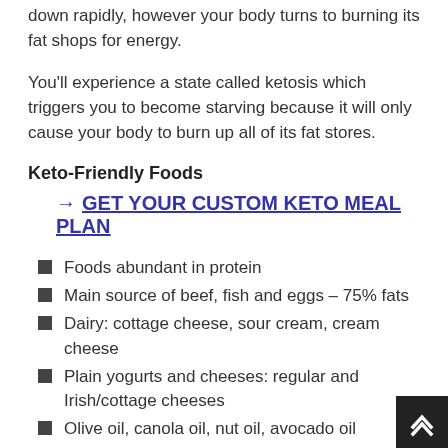down rapidly, however your body turns to burning its fat shops for energy.
You'll experience a state called ketosis which triggers you to become starving because it will only cause your body to burn up all of its fat stores.
Keto-Friendly Foods
→ GET YOUR CUSTOM KETO MEAL PLAN
Foods abundant in protein
Main source of beef, fish and eggs – 75% fats
Dairy: cottage cheese, sour cream, cream cheese
Plain yogurts and cheeses: regular and Irish/cottage cheeses
Olive oil, canola oil, nut oil, avocado oil
Olives, pickles, and other veggies
Nuts and nut butter, seeds and flax seeds